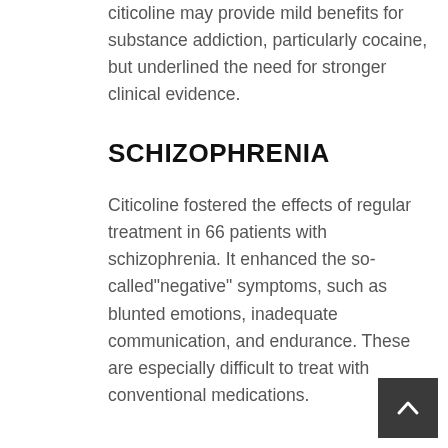citicoline may provide mild benefits for substance addiction, particularly cocaine, but underlined the need for stronger clinical evidence.
SCHIZOPHRENIA
Citicoline fostered the effects of regular treatment in 66 patients with schizophrenia. It enhanced the so-called"negative" symptoms, such as blunted emotions, inadequate communication, and endurance. These are especially difficult to treat with conventional medications.